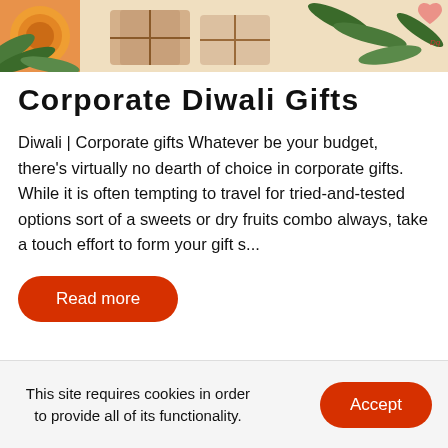[Figure (photo): Decorative image of Diwali/corporate gift items with orange, tan, and green colors, leaves and wrapped gifts visible]
Corporate Diwali Gifts
Diwali | Corporate gifts Whatever be your budget, there's virtually no dearth of choice in corporate gifts. While it is often tempting to travel for tried-and-tested options sort of a sweets or dry fruits combo always, take a touch effort to form your gift s...
Read more
This site requires cookies in order to provide all of its functionality.
Accept